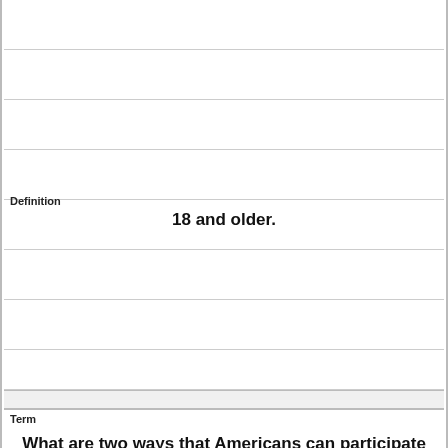Definition
18 and older.
Term
What are two ways that Americans can participate in their democracy?